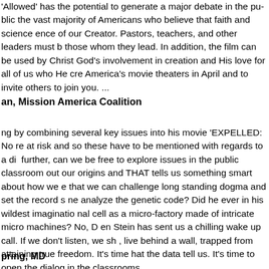'Allowed' has the potential to generate a major debate in the public square among the vast majority of Americans who believe that faith and science coexist as evidence of our Creator. Pastors, teachers, and other leaders must be equipped to lead those whom they lead. In addition, the film can be used by Christians to demonstrate God's involvement in creation and His love for all of us who He created. Plan to attend America's movie theaters in April and to invite others to join you. ...
an, Mission America Coalition
ng by combining several key issues into his movie 'EXPELLED: No Intelligence Allowed'. These are at risk and so these have to be mentioned with regards to a discussion. Further, can we be free to explore issues in the public classroom? We are confused about our origins and THAT tells us something smart about how we can move forward and see that we can challenge long standing dogma and set the record straight. Did Darwin analyze the genetic code? Did he ever in his wildest imagination envision the individual cell as a micro-factory made of intricate micro machines? No, Darwin did not. Ben Stein has sent us a chilling wake up call. If we don't listen, we shall continue to live behind a wall, trapped from attaining true freedom. It's time to report what the data tell us. It's time to open the dialog in the classrooms.
pring, MD